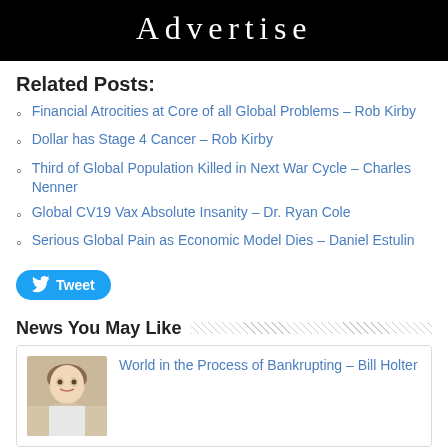[Figure (other): Black banner with white text reading 'Advertise']
Related Posts:
Financial Atrocities at Core of all Global Problems – Rob Kirby
Dollar has Stage 4 Cancer – Rob Kirby
Third of Global Population Killed in Next War Cycle – Charles Nenner
Global CV19 Vax Absolute Insanity – Dr. Ryan Cole
Serious Global Pain as Economic Model Dies – Daniel Estulin
[Figure (other): Twitter Tweet button in blue rounded rectangle]
News You May Like
[Figure (photo): Thumbnail photo of an older man in a white shirt]
World in the Process of Bankrupting – Bill Holter